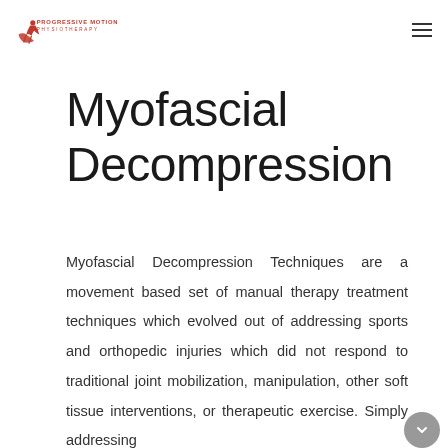[Figure (logo): Progressive Motion Physiotherapy logo — text with a red hand/figure graphic]
Myofascial Decompression
Myofascial Decompression Techniques are a movement based set of manual therapy treatment techniques which evolved out of addressing sports and orthopedic injuries which did not respond to traditional joint mobilization, manipulation, other soft tissue interventions, or therapeutic exercise. Simply addressing